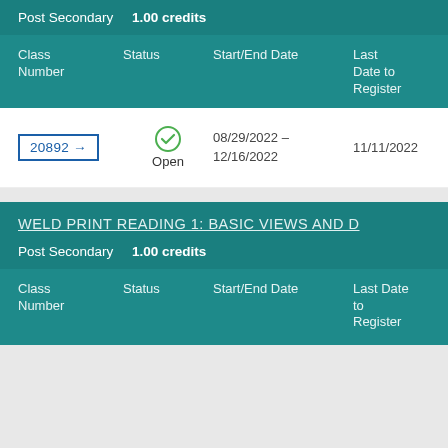Post Secondary    1.00 credits
| Class Number | Status | Start/End Date | Last Date to Register |
| --- | --- | --- | --- |
| 20892 → | Open | 08/29/2022 – 12/16/2022 | 11/11/2022 |
WELD PRINT READING 1: BASIC VIEWS AND D
Post Secondary    1.00 credits
| Class Number | Status | Start/End Date | Last Date to Register |
| --- | --- | --- | --- |